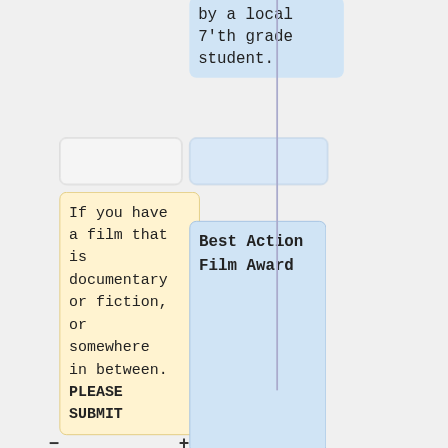by a local 7'th grade student.
Best Action Film Award
If you have a film that is documentary or fiction, or somewhere in between. PLEASE SUBMIT
If you made a film because you were tired